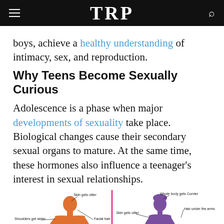TRP
boys, achieve a healthy understanding of intimacy, sex, and reproduction.
Why Teens Become Sexually Curious
Adolescence is a phase when major developments of sexuality take place. Biological changes cause their secondary sexual organs to mature. At the same time, these hormones also influence a teenager's interest in sexual relationships.
[Figure (infographic): Infographic showing physical changes during puberty for male (orange silhouette, left) and female (purple silhouette, right). Male labels: Skin gets oilier, Shoulders get wider, Facial hair, Hair under the arms, Pubic Hairs. Female labels: Whole body gets Curvier, Skin gets oilier, Breasts starts to develop, Hair under the arms, Hip bones wider, Pubic hairs, Weight gain on hips.]